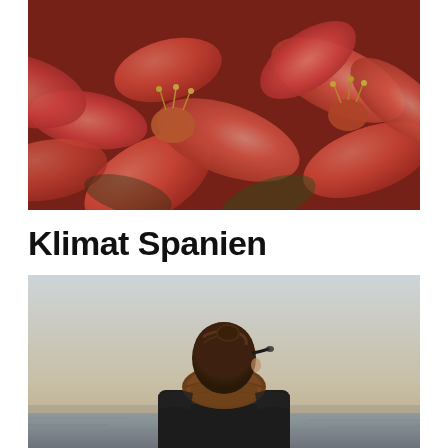[Figure (photo): Close-up photograph of vibrant red/coral lily flowers with yellow stamens, warm vintage tones]
Klimat Spanien
[Figure (photo): Person with brown hair and sunglasses wearing a brown knit scarf and black leather jacket, viewed from behind, against a hazy sky and water background]